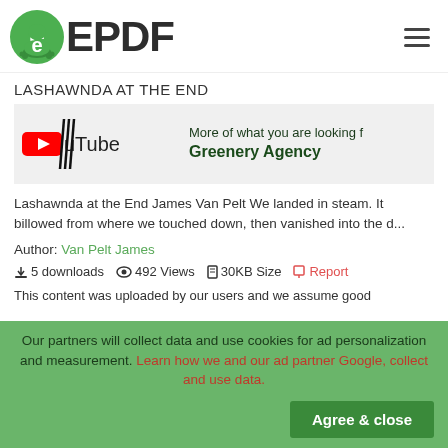EPDF
LASHAWNDA AT THE END
[Figure (screenshot): YouTube logo with scribble overlay and text reading 'More of what you are looking for - Greenery Agency']
Lashawnda at the End James Van Pelt We landed in steam. It billowed from where we touched down, then vanished into the d...
Author: Van Pelt James
5 downloads   492 Views   30KB Size   Report
This content was uploaded by our users and we assume good
Our partners will collect data and use cookies for ad personalization and measurement. Learn how we and our ad partner Google, collect and use data.